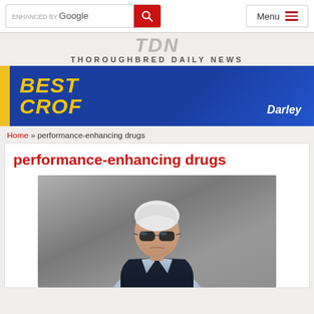ENHANCED BY Google  [search]  Menu
[Figure (logo): Thoroughbred Daily News (TDN) website logo with partial large letters and subtitle THOROUGHBRED DAILY NEWS]
[Figure (illustration): BEST CROF advertisement banner on blue background with yellow text and Darley branding]
Home » performance-enhancing drugs
performance-enhancing drugs
[Figure (photo): Photograph of a man with white hair wearing sunglasses and a dark vest over a light blue shirt, standing in front of a blurred grey background]